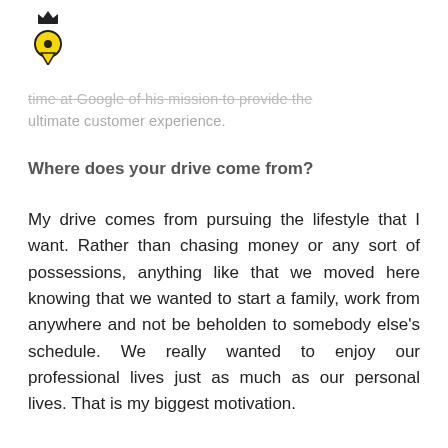[Figure (logo): Yellow map pin / location marker icon with a crown on top, in black and yellow.]
...time at Google of his mission to provide the ultimate customer experience.
Where does your drive come from?
My drive comes from pursuing the lifestyle that I want. Rather than chasing money or any sort of possessions, anything like that we moved here knowing that we wanted to start a family, work from anywhere and not be beholden to somebody else's schedule. We really wanted to enjoy our professional lives just as much as our personal lives. That is my biggest motivation.